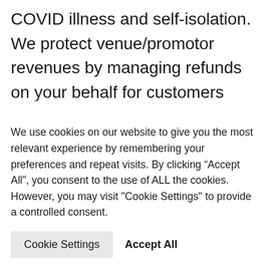COVID illness and self-isolation. We protect venue/promotor revenues by managing refunds on your behalf for customers who purchase ticket refund protection, and you also earn extra revenues on your protection sales.
Event tickets are typically sold on the basis of no refund, no cancellation or under an
We use cookies on our website to give you the most relevant experience by remembering your preferences and repeat visits. By clicking “Accept All”, you consent to the use of ALL the cookies. However, you may visit "Cookie Settings" to provide a controlled consent.